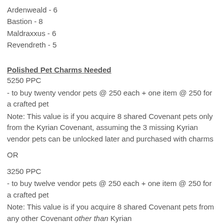Ardenweald - 6
Bastion - 8
Maldraxxus - 6
Revendreth - 5
Polished Pet Charms Needed
5250 PPC
- to buy twenty vendor pets @ 250 each + one item @ 250 for a crafted pet
Note: This value is if you acquire 8 shared Covenant pets only from the Kyrian Covenant, assuming the 3 missing Kyrian vendor pets can be unlocked later and purchased with charms
OR
3250 PPC
- to buy twelve vendor pets @ 250 each + one item @ 250 for a crafted pet
Note: This value is if you acquire 8 shared Covenant pets from any other Covenant other than Kyrian